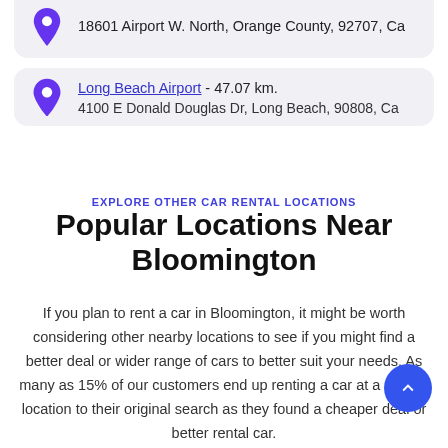18601 Airport W. North, Orange County, 92707, Ca
Long Beach Airport - 47.07 km.
4100 E Donald Douglas Dr, Long Beach, 90808, Ca
EXPLORE OTHER CAR RENTAL LOCATIONS
Popular Locations Near Bloomington
If you plan to rent a car in Bloomington, it might be worth considering other nearby locations to see if you might find a better deal or wider range of cars to better suit your needs. As many as 15% of our customers end up renting a car at a nearby location to their original search as they found a cheaper deal or better rental car.